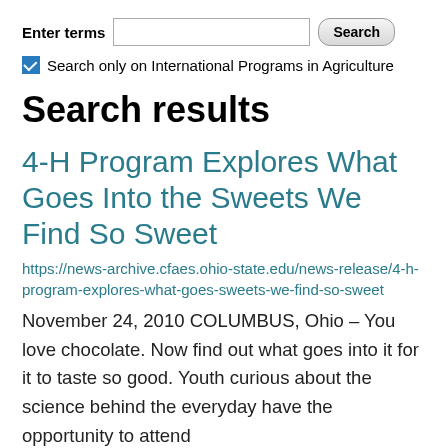Enter terms [input] Search
Search only on International Programs in Agriculture
Search results
4-H Program Explores What Goes Into the Sweets We Find So Sweet
https://news-archive.cfaes.ohio-state.edu/news-release/4-h-program-explores-what-goes-sweets-we-find-so-sweet
November 24, 2010 COLUMBUS, Ohio – You love chocolate. Now find out what goes into it for it to taste so good. Youth curious about the science behind the everyday have the opportunity to attend